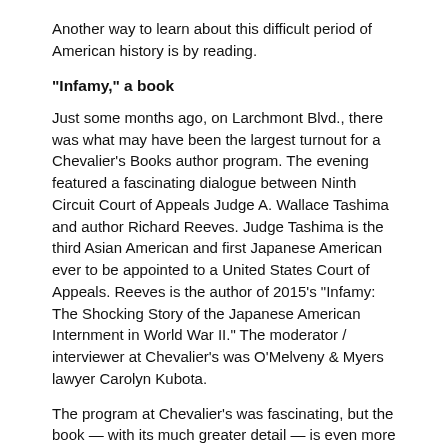Another way to learn about this difficult period of American history is by reading.
“Infamy,” a book
Just some months ago, on Larchmont Blvd., there was what may have been the largest turnout for a Chevalier’s Books author program. The evening featured a fascinating dialogue between Ninth Circuit Court of Appeals Judge A. Wallace Tashima and author Richard Reeves. Judge Tashima is the third Asian American and first Japanese American ever to be appointed to a United States Court of Appeals. Reeves is the author of 2015’s “Infamy: The Shocking Story of the Japanese American Internment in World War II.” The moderator / interviewer at Chevalier’s was O’Melveny & Myers lawyer Carolyn Kubota.
The program at Chevalier’s was fascinating, but the book — with its much greater detail — is even more so. Author Reeves thoroughly reviews the available literature on the internment, and his book gives a clear view of the personal tragedies inflicted upon American families of Japanese descent.
Many of those families are from Los Angeles. Not just the Takeis, but also others, such as merchants in Little Tokyo whose lives were uprooted and whose businesses were ruined.
While you may have to wait to see “Allegiance” again in theaters.